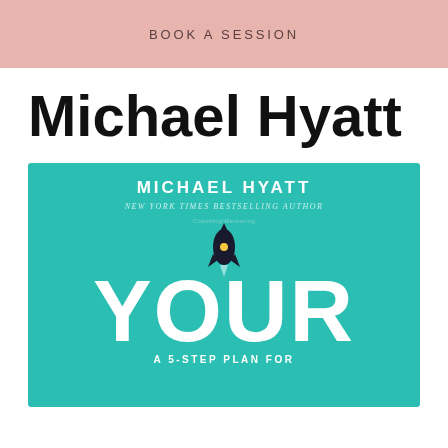BOOK A SESSION
Michael Hyatt
[Figure (photo): Book cover of 'Your Best Year Ever' by Michael Hyatt, New York Times Bestselling Author. Teal/green background with a rocket icon launching upward, large white text reading 'YOUR' and subtitle 'A 5-STEP PLAN FOR']